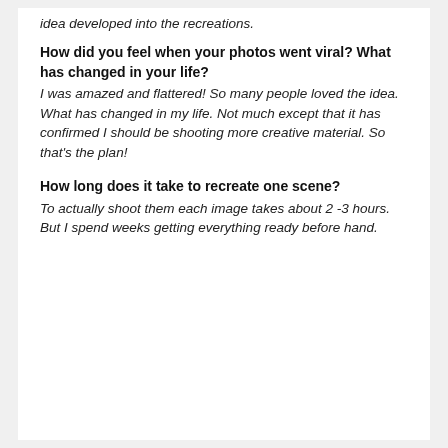idea developed into the recreations.
How did you feel when your photos went viral? What has changed in your life?
I was amazed and flattered! So many people loved the idea. What has changed in my life. Not much except that it has confirmed I should be shooting more creative material. So that's the plan!
How long does it take to recreate one scene?
To actually shoot them each image takes about 2 -3 hours. But I spend weeks getting everything ready before hand.